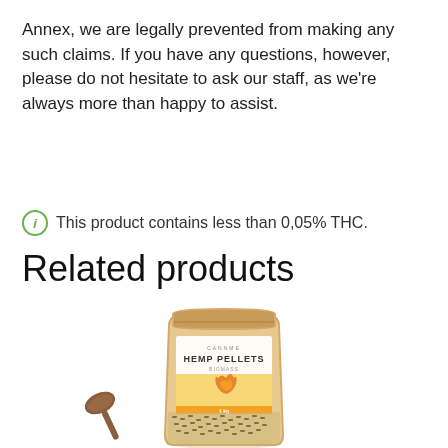Annex, we are legally prevented from making any such claims. If you have any questions, however, please do not hesitate to ask our staff, as we're always more than happy to assist.
ⓘ This product contains less than 0,05% THC.
Related products
[Figure (photo): A kraft paper stand-up pouch bag labeled 'HEMP PELLETS' with a transparent window showing hemp pellets inside, accompanied by a small wooden spoon at the bottom.]